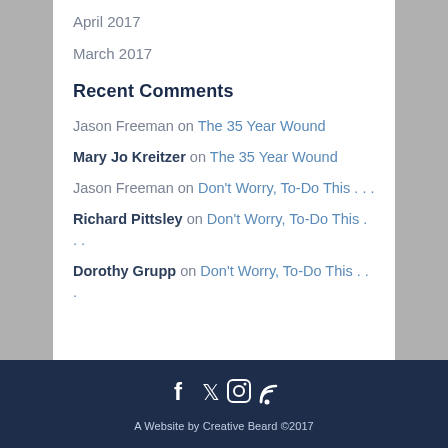April 2017
March 2017
Recent Comments
Jason Freeman on The 35 Year Wound
Mary Jo Kreitzer on The 35 Year Wound
Jason Freeman on Don't Worry, To-Do This . . .
Richard Pittsley on Don't Worry, To-Do This . . .
Dorothy Grupp on Don't Worry, To-Do This . . .
A Website by Creative Beard ©2017